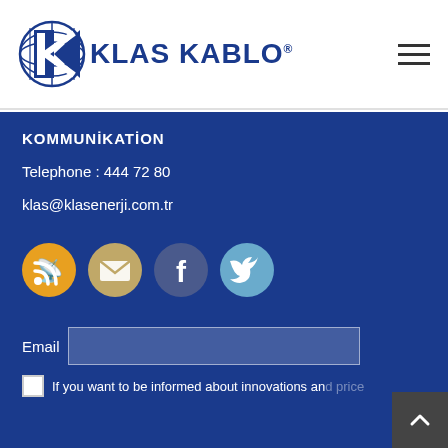[Figure (logo): Klas Kablo logo with globe icon and bold blue text reading KLAS KABLO with registered trademark symbol]
KOMMUNİKATİON
Telephone : 444 72 80
klas@klasenerji.com.tr
[Figure (illustration): Four social media icons in circular buttons: RSS (orange), Email (tan/gold), Facebook (dark blue), Twitter (light blue)]
Email
If you want to be informed about innovations and price